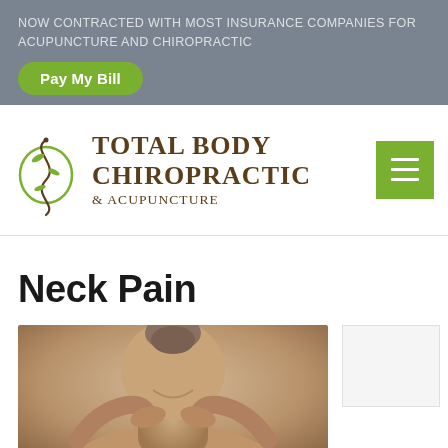NOW CONTRACTED WITH MOST INSURANCE COMPANIES FOR ACUPUNCTURE AND CHIROPRACTIC
Pay My Bill
[Figure (logo): Total Body Chiropractic & Acupuncture logo with decorative vine/spine graphic and serif text]
Neck Pain
[Figure (photo): Photo of a person viewed from behind, holding the back of their neck with both hands, hair up in a bun, showing neck pain]